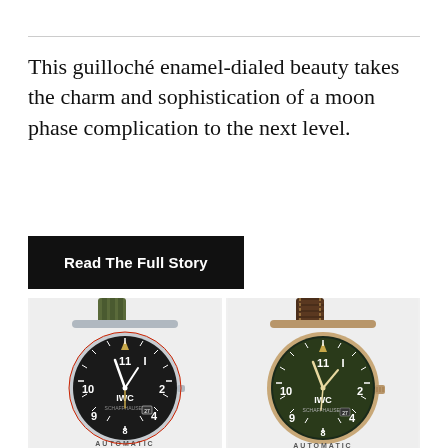This guilloché enamel-dialed beauty takes the charm and sophistication of a moon phase complication to the next level.
Read The Full Story
[Figure (photo): Two IWC pilot watches side by side. Left: steel case with olive green NATO strap and black dial. Right: bronze/gold-tone case with dark brown leather strap and green dial. Both show IWC branding and Arabic numerals.]